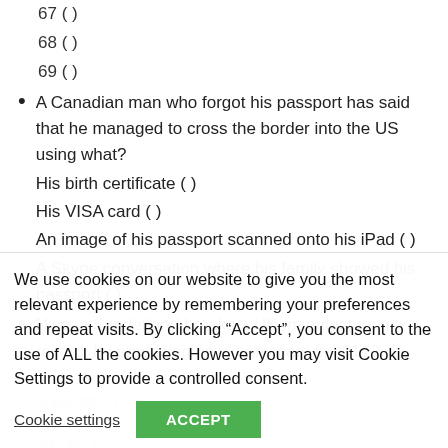67 ( )
68 ( )
69 ( )
A Canadian man who forgot his passport has said that he managed to cross the border into the US using what?
His birth certificate ( )
His VISA card ( )
An image of his passport scanned onto his iPad ( )
A Skype conversation where his family showed his passport ( )
Nissan Sunderland breaks a UK manufacturing record, by producing how many cars in 2011?
We use cookies on our website to give you the most relevant experience by remembering your preferences and repeat visits. By clicking “Accept”, you consent to the use of ALL the cookies. However you may visit Cookie Settings to provide a controlled consent.